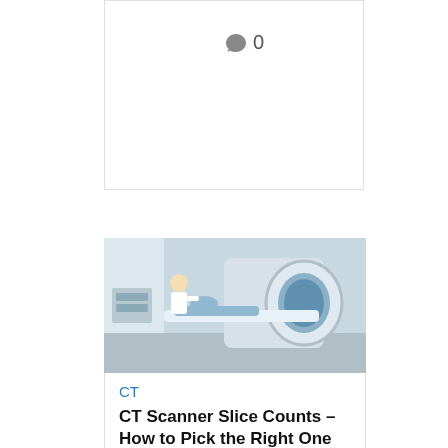0 (comment count)
[Figure (photo): Medical CT scanner with a patient lying on the examination table and a healthcare professional standing nearby]
CT
CT Scanner Slice Counts – How to Pick the Right One for Your Needs
Buying a CT